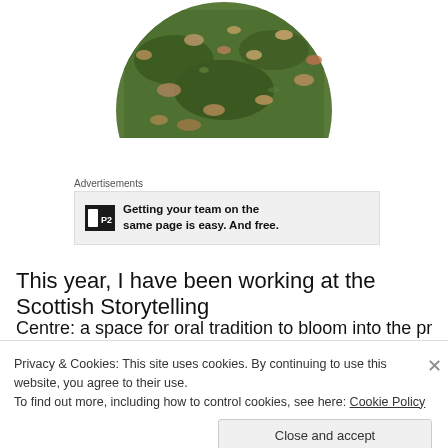[Figure (photo): Circular cropped photo showing grass with fallen autumn leaves viewed from above]
Advertisements
[Figure (other): Advertisement box with P2 logo icon and text 'Getting your team on the same page is easy. And free.']
This year, I have been working at the Scottish Storytelling
Centre: a space for oral tradition to bloom into the present
Privacy & Cookies: This site uses cookies. By continuing to use this website, you agree to their use.
To find out more, including how to control cookies, see here: Cookie Policy
Close and accept